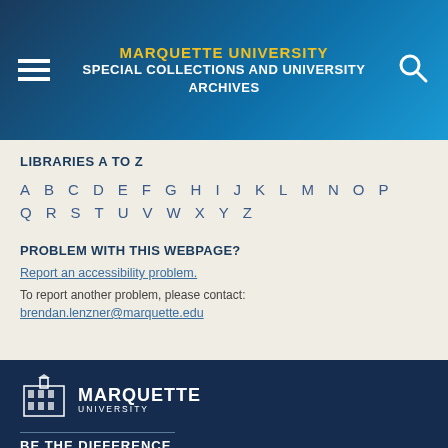MARQUETTE UNIVERSITY SPECIAL COLLECTIONS AND UNIVERSITY ARCHIVES
LIBRARIES A TO Z
A B C D E F G H I J K L M N O P Q R S T U V W X Y Z
PROBLEM WITH THIS WEBPAGE?
Report an accessibility problem.
To report another problem, please contact:
brendan.lenzner@marquette.edu
[Figure (logo): Marquette University logo with building icon and tagline BE THE DIFFERENCE.]